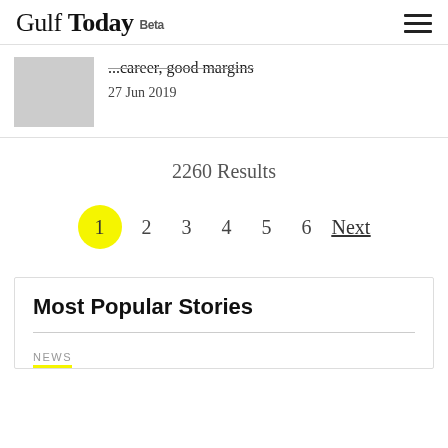Gulf Today Beta
...career, good margins
27 Jun 2019
2260 Results
1  2  3  4  5  6  Next
Most Popular Stories
NEWS